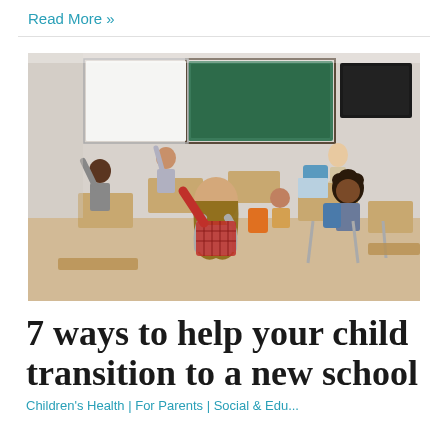Read More »
[Figure (photo): Classroom scene with children sitting at desks raising their hands, with a teacher standing at the front near a green chalkboard and black screen. A girl in a red plaid shirt with a grey backpack is prominently in the foreground.]
7 ways to help your child transition to a new school
Children's Health | For Parents | Social & Edu...